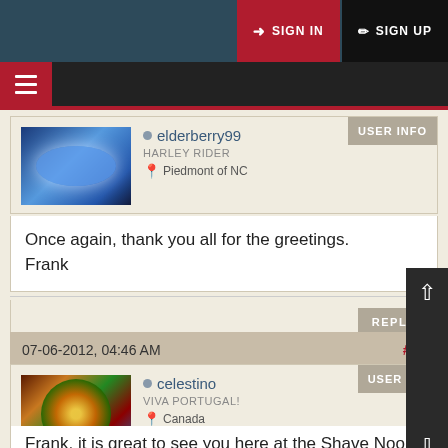[Figure (screenshot): Website header with SIGN IN (red button) and SIGN UP (black button) on dark teal background, with hamburger menu nav bar below]
[Figure (photo): Avatar image of elderberry99 - blue motorcycle fuel tank]
elderberry99
HARLEY RIDER
Piedmont of NC
USER INFO
Once again, thank you all for the greetings.
Frank
REPLY
07-06-2012, 04:46 AM
#20
[Figure (photo): Avatar image of celestino - colorful artistic painting]
celestino
VIVA PORTUGAL!
Canada
USER INF
Frank, it is great to see you here at the Shave Nook.